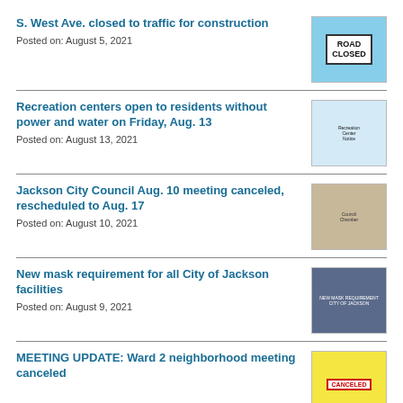S. West Ave. closed to traffic for construction
Posted on: August 5, 2021
Recreation centers open to residents without power and water on Friday, Aug. 13
Posted on: August 13, 2021
Jackson City Council Aug. 10 meeting canceled, rescheduled to Aug. 17
Posted on: August 10, 2021
New mask requirement for all City of Jackson facilities
Posted on: August 9, 2021
MEETING UPDATE: Ward 2 neighborhood meeting canceled